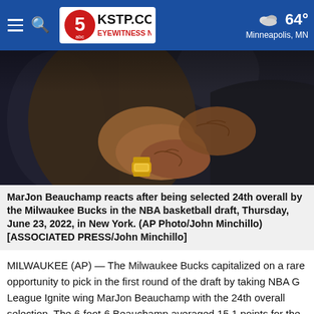KSTP.COM EYEWITNESS NEWS — 64° Minneapolis, MN
[Figure (photo): Two people embracing; one person's tattooed hand and gold watch visible on the shoulder of another person in a dark jacket.]
MarJon Beauchamp reacts after being selected 24th overall by the Milwaukee Bucks in the NBA basketball draft, Thursday, June 23, 2022, in New York. (AP Photo/John Minchillo)[ASSOCIATED PRESS/John Minchillo]
MILWAUKEE (AP) — The Milwaukee Bucks capitalized on a rare opportunity to pick in the first round of the draft by taking NBA G League Ignite wing MarJon Beauchamp with the 24th overall selection. The 6-foot-6 Beauchamp averaged 15.1 points for the Ignite this season. That was the latest step in a circuitous path to the NBA that included stops at four different high schools and Yakima Valley College...